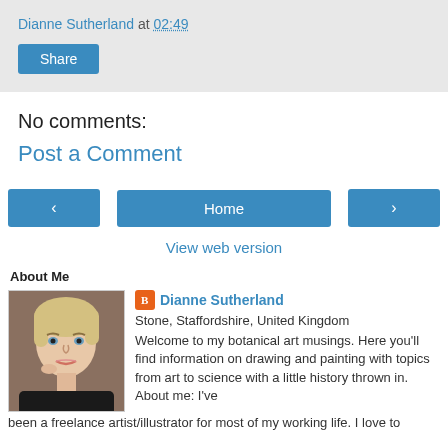Dianne Sutherland at 02:49
Share
No comments:
Post a Comment
‹
Home
›
View web version
About Me
Dianne Sutherland
Stone, Staffordshire, United Kingdom
Welcome to my botanical art musings. Here you'll find information on drawing and painting with topics from art to science with a little history thrown in. About me: I've been a freelance artist/illustrator for most of my working life. I love to